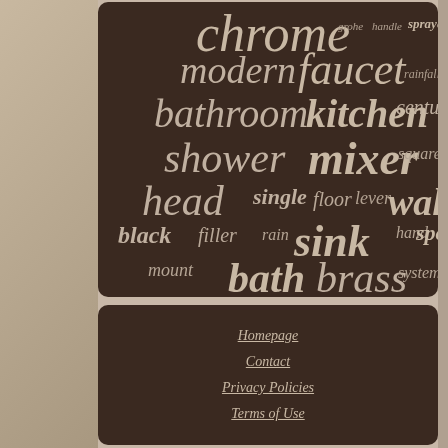[Figure (other): Word cloud on dark brown rounded panel with bathroom/kitchen faucet related terms: chrome, modern, faucet, bathroom, kitchen, shower, mixer, head, single, floor, lever, wall, black, filler, rain, sink, hand, spout, mount, bath, brass, system, grohe, handle, sprayer, rainfall, century, square]
[Figure (other): Navigation footer panel on dark brown rounded background with links: Homepage, Contact, Privacy Policies, Terms of Use]